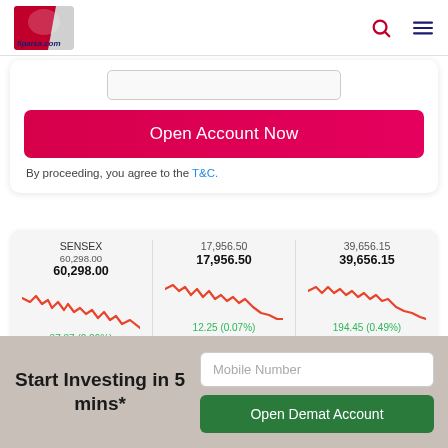[Figure (logo): 5paisa.com logo with red and silver card design]
Open Account Now
By proceeding, you agree to the T&C.
[Figure (line-chart): SENSEX line chart showing 60,298.00, change 37.87 (0.06%)]
[Figure (line-chart): Index line chart showing 17,956.50, change 12.25 (0.07%)]
[Figure (line-chart): Index line chart showing 39,656.15, change 194.45 (0.49%)]
Start Investing in 5 mins*
Mobile Number
Open Demat Account